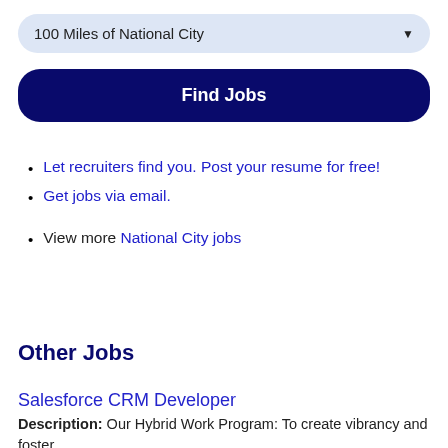100 Miles of National City
Find Jobs
Let recruiters find you. Post your resume for free!
Get jobs via email.
View more National City jobs
Other Jobs
Salesforce CRM Developer
Description: Our Hybrid Work Program: To create vibrancy and foster collaboration, while providing for hours spent working from home, we